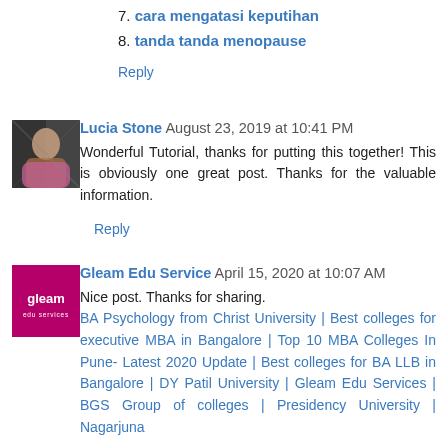7. cara mengatasi keputihan
8. tanda tanda menopause
Reply
[Figure (photo): Avatar photo of Lucia Stone]
Lucia Stone  August 23, 2019 at 10:41 PM
Wonderful Tutorial, thanks for putting this together! This is obviously one great post. Thanks for the valuable information.
Reply
[Figure (logo): Gleam Edu Service logo — pink/magenta background with white text 'gleam']
Gleam Edu Service  April 15, 2020 at 10:07 AM
Nice post. Thanks for sharing.
BA Psychology from Christ University | Best colleges for executive MBA in Bangalore | Top 10 MBA Colleges In Pune- Latest 2020 Update | Best colleges for BA LLB in Bangalore | DY Patil University | Gleam Edu Services | BGS Group of colleges | Presidency University | Nagarjuna